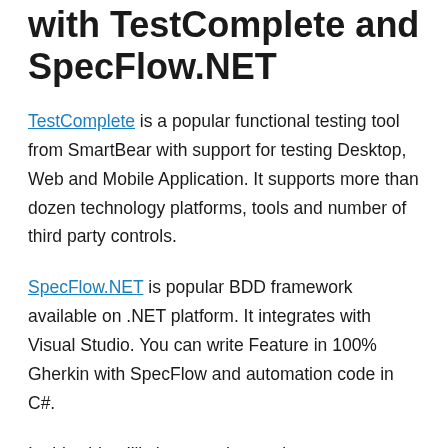Implementing BDD/WBT with TestComplete and SpecFlow.NET
TestComplete is a popular functional testing tool from SmartBear with support for testing Desktop, Web and Mobile Application. It supports more than dozen technology platforms, tools and number of third party controls.
SpecFlow.NET is popular BDD framework available on .NET platform. It integrates with Visual Studio. You can write Feature in 100% Gherkin with SpecFlow and automation code in C#.
In this video I'll show you how to integrate